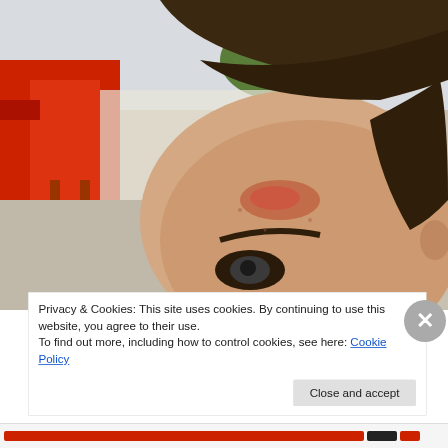[Figure (photo): Close-up photo of a person's forehead and upper face showing a red mark or injury on the forehead, with brown hair swept back, outdoor setting with red chairs and trees visible in background.]
Privacy & Cookies: This site uses cookies. By continuing to use this website, you agree to their use.
To find out more, including how to control cookies, see here: Cookie Policy